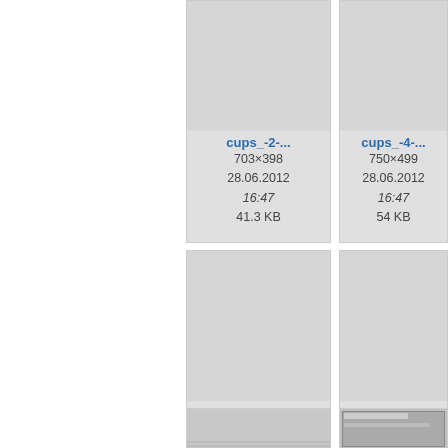[Figure (screenshot): File thumbnail card for cups_-2-... showing dimensions 703×398, date 28.06.2012, time 16:47, size 41.3 KB]
[Figure (screenshot): File thumbnail card for cups_-4-... showing dimensions 750×499, date 28.06.2012, time 16:47, size 54 KB]
[Figure (screenshot): File thumbnail card for cups_-6-... showing dimensions 743×466, date 28.06.2012, time 16:47, size 45.5 KB]
[Figure (screenshot): File thumbnail card for cups_-7-... showing dimensions 808×653, date 28.06.2012, time 16:47, size 60.2 KB]
[Figure (screenshot): Partially visible thumbnail card at bottom left (cups image, partially cropped)]
[Figure (screenshot): Partially visible thumbnail card at bottom right (cups image with screenshot preview, partially cropped)]